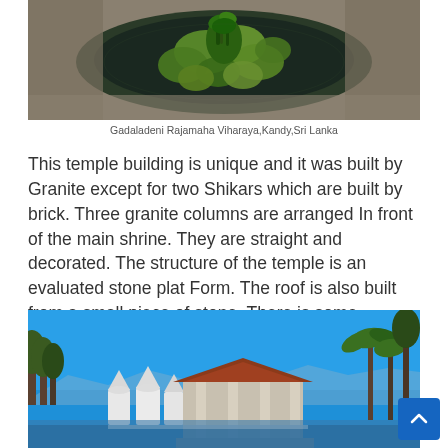[Figure (photo): Aerial/top-down view of water lily pond with large round green lily pads floating on dark water, surrounded by stone or granite surface at Gadaladeni Rajamaha Viharaya]
Gadaladeni Rajamaha Viharaya,Kandy,Sri Lanka
This temple building is unique and it was built by Granite except for two Shikars which are built by brick. Three granite columns are arranged In front of the main shrine. They are straight and decorated. The structure of the temple is an evaluated stone plat Form. The roof is also built from a small piece of stone. There is some carvings foot of the building.
[Figure (photo): Photograph of a Sri Lankan temple (likely Kandy area) showing white stupa structures, a temple building with brown roof, palm trees and other tropical trees against a bright blue sky]